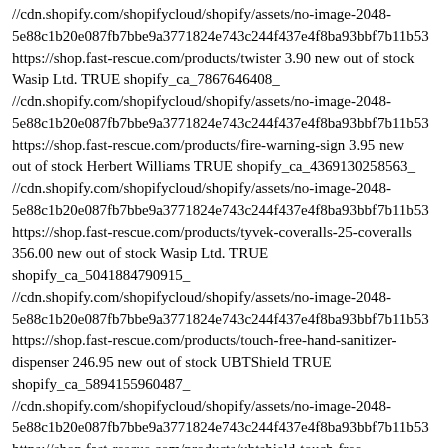//cdn.shopify.com/shopifycloud/shopify/assets/no-image-2048-5e88c1b20e087fb7bbe9a3771824e743c244f437e4f8ba93bbf7b11b53 https://shop.fast-rescue.com/products/twister 3.90 new out of stock Wasip Ltd. TRUE shopify_ca_7867646408_ //cdn.shopify.com/shopifycloud/shopify/assets/no-image-2048-5e88c1b20e087fb7bbe9a3771824e743c244f437e4f8ba93bbf7b11b53 https://shop.fast-rescue.com/products/fire-warning-sign 3.95 new out of stock Herbert Williams TRUE shopify_ca_4369130258563_ //cdn.shopify.com/shopifycloud/shopify/assets/no-image-2048-5e88c1b20e087fb7bbe9a3771824e743c244f437e4f8ba93bbf7b11b53 https://shop.fast-rescue.com/products/tyvek-coveralls-25-coveralls 356.00 new out of stock Wasip Ltd. TRUE shopify_ca_5041884790915_ //cdn.shopify.com/shopifycloud/shopify/assets/no-image-2048-5e88c1b20e087fb7bbe9a3771824e743c244f437e4f8ba93bbf7b11b53 https://shop.fast-rescue.com/products/touch-free-hand-sanitizer-dispenser 246.95 new out of stock UBTShield TRUE shopify_ca_5894155960487_ //cdn.shopify.com/shopifycloud/shopify/assets/no-image-2048-5e88c1b20e087fb7bbe9a3771824e743c244f437e4f8ba93bbf7b11b53 https://shop.fast-rescue.com/products/ubtshield-touch-free-industrial-hand-sanitizer-dispenser 227.70 new out of stock UBTShield TRUE shopify_ca_4350728644_ //cdn.shopify.com/shopifycloud/shopify/assets/no-image-2048-5e88c1b20e087fb7bbe9a3771824e743c244f437e4f8ba93bbf7b11b53 https://shop.fast-rescue.com/products/ultra-thin-nano-engineered-